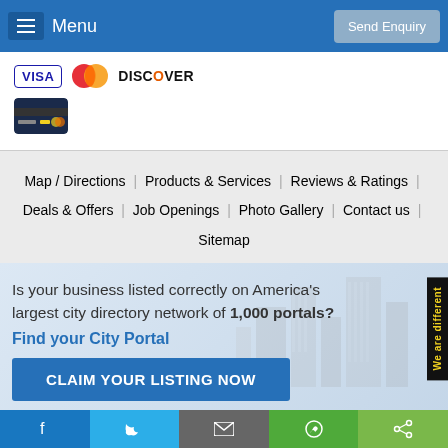Menu | Send Enquiry
[Figure (logo): Payment method logos: VISA, Mastercard, DISCOVER, and a credit card icon]
Map / Directions | Products & Services | Reviews & Ratings | Deals & Offers | Job Openings | Photo Gallery | Contact us | Sitemap
Is your business listed correctly on America's largest city directory network of 1,000 portals?
Find your City Portal
CLAIM YOUR LISTING NOW
We are different